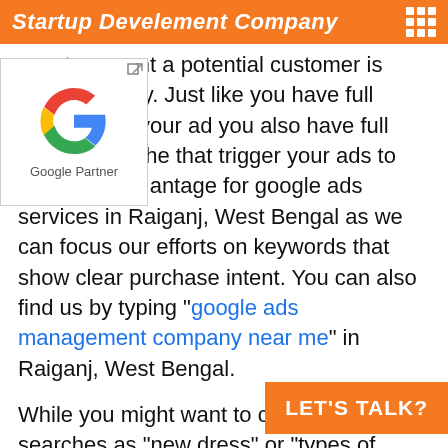Startup Develement Company
[Figure (logo): Google Partner logo with Google G icon and text 'Google Partner']
exact moment a potential customer is looking to buy. Just like you have full control over your ad you also have full control over the that trigger your ads to run. This is a antage for google ads services in Raiganj, West Bengal as we can focus our efforts on keywords that show clear purchase intent. You can also find us by typing "google ads management company near me" in Raiganj, West Bengal.
While you might want to categorize searches as "new dress" or "types of plants" for organic search results, your advertising dollars wo spent on searches like "buy plants